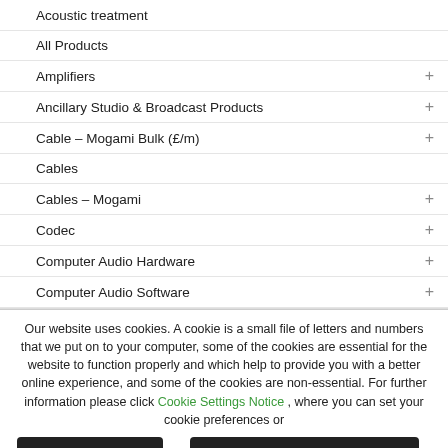Acoustic treatment
All Products
Amplifiers +
Ancillary Studio & Broadcast Products +
Cable – Mogami Bulk (£/m) +
Cables
Cables – Mogami +
Codec +
Computer Audio Hardware +
Computer Audio Software +
Our website uses cookies. A cookie is a small file of letters and numbers that we put on to your computer, some of the cookies are essential for the website to function properly and which help to provide you with a better online experience, and some of the cookies are non-essential. For further information please click Cookie Settings Notice , where you can set your cookie preferences or
Accept all cookies or Reject all non-essential cookies .